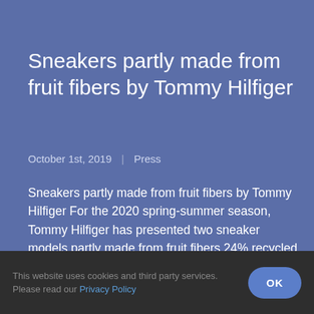Sneakers partly made from fruit fibers by Tommy Hilfiger
October 1st, 2019  |  Press
Sneakers partly made from fruit fibers by Tommy Hilfiger For the 2020 spring-summer season, Tommy Hilfiger has presented two sneaker models partly made from fruit fibers.24% recycled apple fiberIntended for both men and women, these first two models are 24%
This website uses cookies and third party services. Please read our Privacy Policy